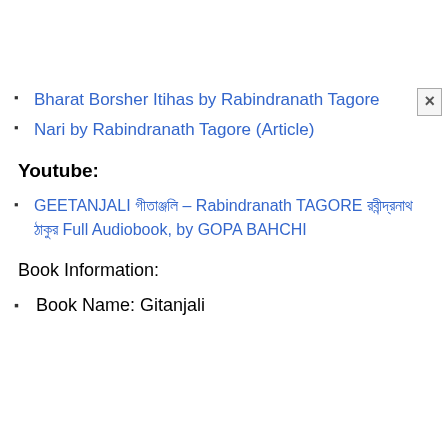Bharat Borsher Itihas by Rabindranath Tagore
Nari by Rabindranath Tagore (Article)
Youtube:
GEETANJALI গীতাঞ্জলি – Rabindranath TAGORE রবীন্দ্রনাথ ঠাকুর Full Audiobook, by GOPA BAHCHI
Book Information:
Book Name: Gitanjali